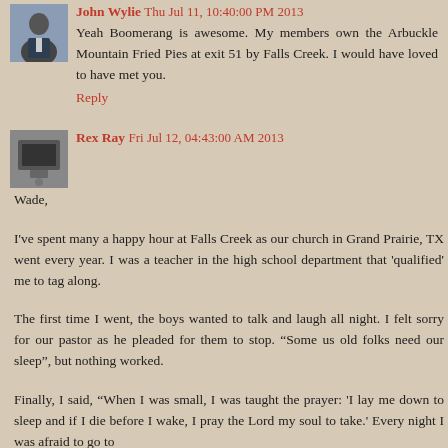John Wylie Thu Jul 11, 10:40:00 PM 2013
Yeah Boomerang is awesome. My members own the Arbuckle Mountain Fried Pies at exit 51 by Falls Creek. I would have loved to have met you.
Reply
Rex Ray Fri Jul 12, 04:43:00 AM 2013
Wade,
I've spent many a happy hour at Falls Creek as our church in Grand Prairie, TX went every year. I was a teacher in the high school department that 'qualified' me to tag along.
The first time I went, the boys wanted to talk and laugh all night. I felt sorry for our pastor as he pleaded for them to stop. “Some us old folks need our sleep”, but nothing worked.
Finally, I said, “When I was small, I was taught the prayer: 'I lay me down to sleep and if I die before I wake, I pray the Lord my soul to take.' Every night I was afraid to go to